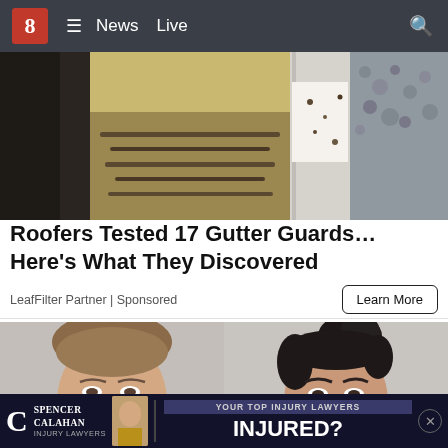8 ≡ News Live 🔍
[Figure (photo): Close-up photo of dirty/clogged gutter guard showing debris and buildup]
Roofers Tested 17 Gutter Guards... Here's What They Discovered
LeafFilter Partner | Sponsored
[Figure (photo): Two mugshot photos side by side: left shows a woman with light brown pulled-back hair, right shows a woman with dark hair in a bun]
[Figure (infographic): Spencer Calahan Injury Lawyers advertisement banner: YOUR TOP INJURY LAWYERS / INJURED?]